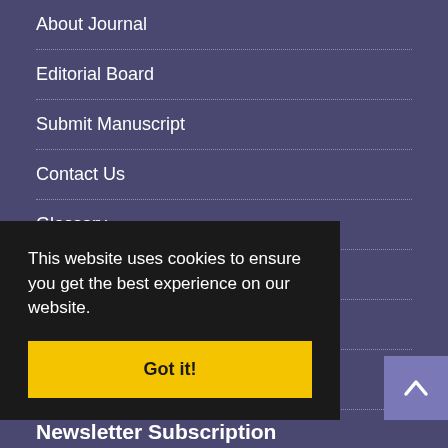About Journal
Editorial Board
Submit Manuscript
Contact Us
Glossary
Hard Copy Subscription
Sitemap
Latest News
Article processing charge (APC) 2022-05-16
This website uses cookies to ensure you get the best experience on our website.
Got it!
Newsletter Subscription